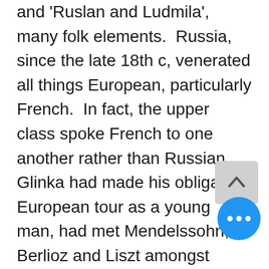and 'Ruslan and Ludmila', many folk elements.  Russia, since the late 18th c, venerated all things European, particularly French.  In fact, the upper class spoke French to one another rather than Russian.  Glinka had made his obligatory European tour as a young man, had met Mendelssohn, Berlioz and Liszt amongst others and studied composition in Milan.  But on returning to Russia in 1834, he came to see that what really inspired him was his own heritage and in particular the songs of the peasant choirs of his childhood.  These choirs employed a technique called podgoloschnaya which used improvised dissonant harmonies below the melody; from previous lessons you might be able to